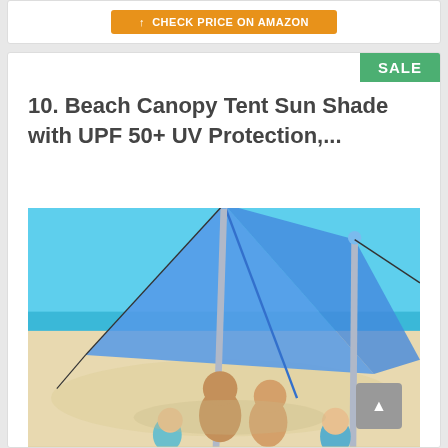[Figure (screenshot): Orange 'Check Price on Amazon' button on a white card]
SALE
10. Beach Canopy Tent Sun Shade with UPF 50+ UV Protection,...
[Figure (photo): A family (man, woman, two young children) sitting on a sandy beach under a large blue triangular sun shade canopy tent with aluminum poles. Blue ocean and sky visible in background.]